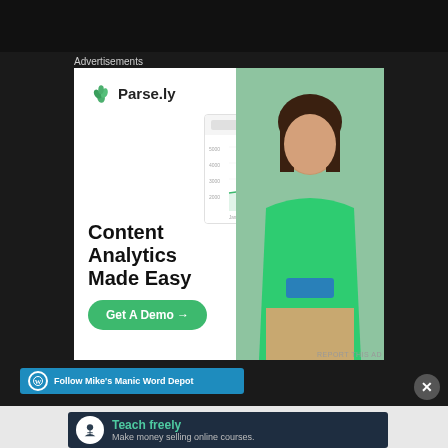Advertisements
[Figure (photo): Parse.ly advertisement banner featuring a woman in a green top standing next to a laptop, with the Parse.ly logo and dashboard UI visible, and text 'Content Analytics Made Easy' with a 'Get A Demo →' button]
REPORT THIS AD
Follow Mike's Manic Word Depot
[Figure (photo): Advertisement banner with dark navy background showing 'Teach freely - Make money selling online courses.' with a white circular icon]